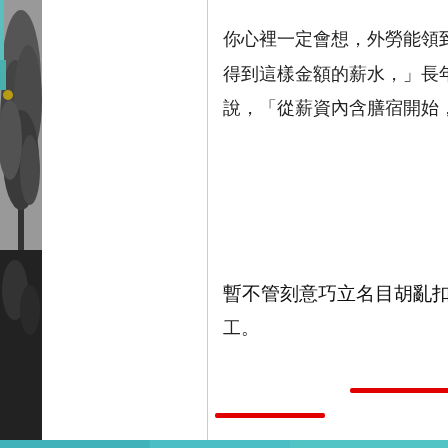[Figure (photo): Black and white photo strip on the left side showing a tree]
你心裡一定會想，外勞能領到1
得到這樣金額的薪水，」長年關
說，「從薪資內含膳宿開始，外
暫不管刻意巧立名目胡亂扣外勞
工。
[Figure (photo): Teal/turquoise scientific or satellite image with blue and orange spots, shown as a horizontal band at the bottom of the page. Has 'pic.:□' label in white text at top right.]